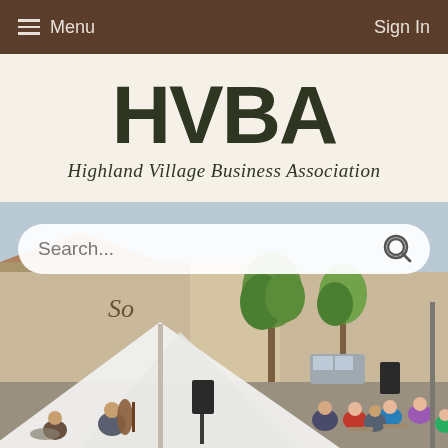Menu | Sign In
[Figure (logo): HVBA Highland Village Business Association logo on cream background]
[Figure (photo): Outdoor street scene with white tent canopy, musicians performing, audience seated, trees and buildings in background]
Search...